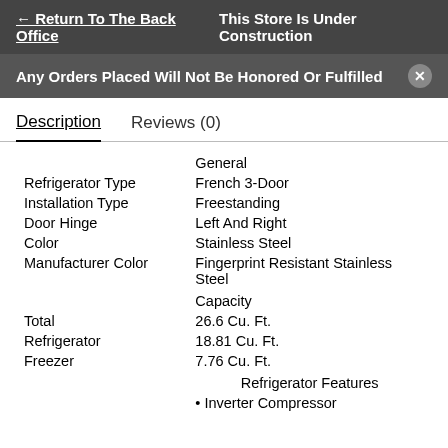← Return To The Back Office   This Store Is Under Construction
Any Orders Placed Will Not Be Honored Or Fulfilled
Description   Reviews (0)
|  | General |
| Refrigerator Type | French 3-Door |
| Installation Type | Freestanding |
| Door Hinge | Left And Right |
| Color | Stainless Steel |
| Manufacturer Color | Fingerprint Resistant Stainless Steel |
|  | Capacity |
| Total | 26.6 Cu. Ft. |
| Refrigerator | 18.81 Cu. Ft. |
| Freezer | 7.76 Cu. Ft. |
|  | Refrigerator Features |
|  | • Inverter Compressor |